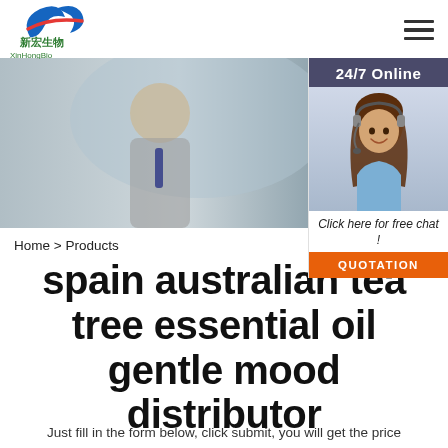[Figure (logo): XinHongBio logo with stylized blue and red swoosh and Chinese characters 新宏生物]
[Figure (photo): Banner photo showing customer service representatives with headsets in an office environment]
[Figure (photo): 24/7 Online sidebar with smiling female customer service representative wearing a headset]
Click here for free chat !
QUOTATION
Home > Products
spain australian tea tree essential oil gentle mood distributor
Just fill in the form below, click submit, you will get the price